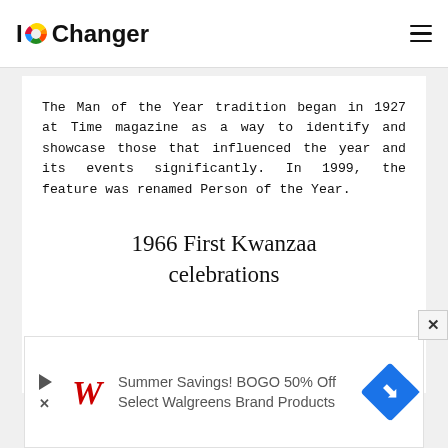IOChanger
The Man of the Year tradition began in 1927 at Time magazine as a way to identify and showcase those that influenced the year and its events significantly. In 1999, the feature was renamed Person of the Year.
1966 First Kwanzaa celebrations
[Figure (infographic): Advertisement banner: Walgreens 'Summer Savings! BOGO 50% Off Select Walgreens Brand Products' with Walgreens W logo in red and a blue navigation diamond icon]